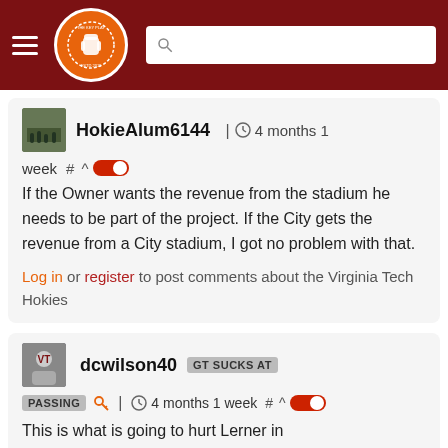The Key Play - site header with hamburger menu, logo, and search bar
HokieAlum6144 | 4 months 1 week # ^ [toggle]

If the Owner wants the revenue from the stadium he needs to be part of the project. If the City gets the revenue from a City stadium, I got no problem with that.

Log in or register to post comments about the Virginia Tech Hokies
dcwilson40 GT SUCKS AT PASSING [key icon] | 4 months 1 week # ^ [toggle]

This is what is going to hurt Lerner in